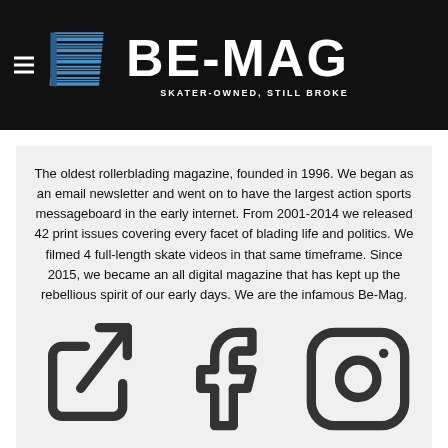[Figure (logo): BE-MAG logo with blue geometric cube icon and text 'BE-MAG' with tagline 'SKATER-OWNED, STILL BROKE' on black background]
The oldest rollerblading magazine, founded in 1996. We began as an email newsletter and went on to have the largest action sports messageboard in the early internet. From 2001-2014 we released 42 print issues covering every facet of blading life and politics. We filmed 4 full-length skate videos in that same timeframe. Since 2015, we became an all digital magazine that has kept up the rebellious spirit of our early days. We are the infamous Be-Mag.
[Figure (illustration): Three social media icons: external link/share icon, Facebook icon, Instagram icon]
RELATED POSTS